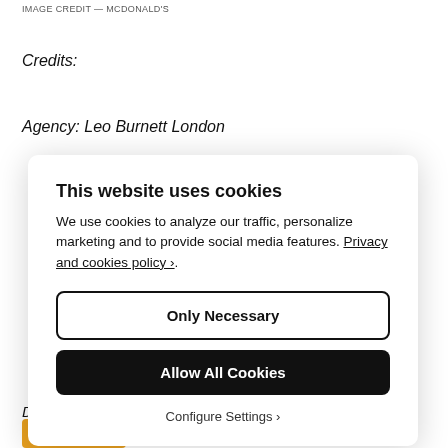IMAGE CREDIT — MCDONALD'S
Credits:
Agency: Leo Burnett London
[Figure (screenshot): Cookie consent modal dialog with title 'This website uses cookies', body text about cookies for traffic analysis, marketing, and social media features with a Privacy and cookies policy link, two buttons: 'Only Necessary' (outlined) and 'Allow All Cookies' (black filled), and a 'Configure Settings ›' text link.]
Designer: Leo Burnett...
Translate »